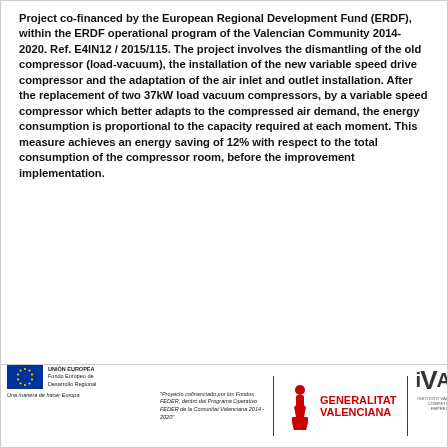Project co-financed by the European Regional Development Fund (ERDF), within the ERDF operational program of the Valencian Community 2014-2020. Ref. E4IN12 / 2015/115. The project involves the dismantling of the old compressor (load-vacuum), the installation of the new variable speed drive compressor and the adaptation of the air inlet and outlet installation. After the replacement of two 37kW load vacuum compressors, by a variable speed compressor which better adapts to the compressed air demand, the energy consumption is proportional to the capacity required at each moment. This measure achieves an energy saving of 12% with respect to the total consumption of the compressor room, before the improvement implementation.
[Figure (logo): Footer bar with EU/ERDF logo, Generalitat Valenciana logo, and IVACE logo with red dividers]